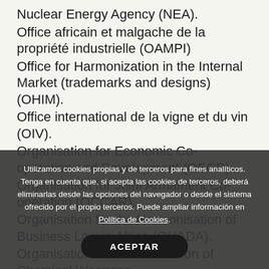Nuclear Energy Agency (NEA).
Office africain et malgache de la propriété industrielle (OAMPI)
Office for Harmonization in the Internal Market (trademarks and designs) (OHIM).
Office international de la vigne et du vin (OIV).
Organisation for Economic Co-operation and Development (OECD).
Organisation for Joint Armament Co-operation (OCCAR).
Organisation for the Harmonisation of Business Law in Africa (OHADA).
Organisation for the Prohibition of Chemical Weapons.
Organisation for Security and Co-operation...
Utilizamos cookies propias y de terceros para fines analíticos. Tenga en cuenta que, si acepta las cookies de terceros, deberá eliminarlas desde las opciones del navegador o desde el sistema ofrecido por el propio terceros. Puede ampliar información en Política de Cookies.